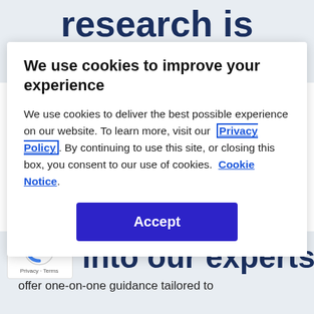Gartner research is just one of our many
We use cookies to improve your experience
We use cookies to deliver the best possible experience on our website. To learn more, visit our Privacy Policy. By continuing to use this site, or closing this box, you consent to our use of cookies. Cookie Notice.
Accept
Tap into our experts
offer one-on-one guidance tailored to